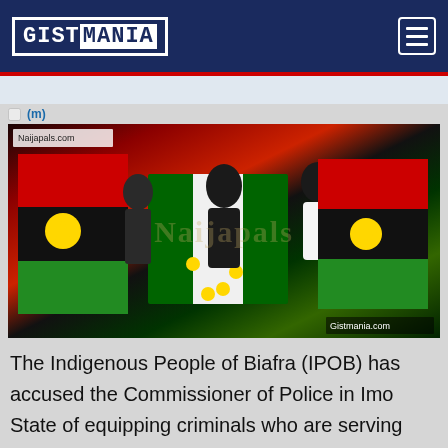GISTMANIA
[Figure (photo): Group of people holding IPOB (Biafran) flags and another flag, with watermark text 'Naijapals.com' and 'Gistmania.com']
The Indigenous People of Biafra (IPOB) has accused the Commissioner of Police in Imo State of equipping criminals who are serving their jail terms with weapons to commit crimes and thereafter blame it on members of the Eastern Security Network.